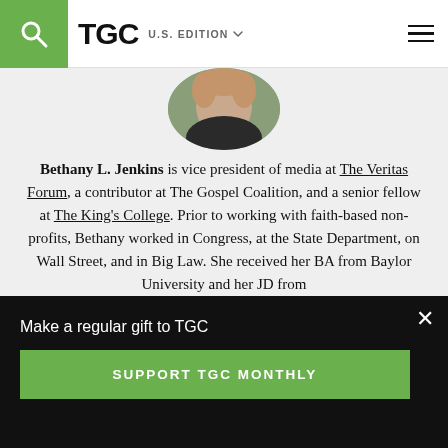TGC | U.S. EDITION
[Figure (photo): Circular profile photo of Bethany L. Jenkins, cropped at top]
Bethany L. Jenkins is vice president of media at The Veritas Forum, a contributor at The Gospel Coalition, and a senior fellow at The King's College. Prior to working with faith-based non-profits, Bethany worked in Congress, at the State Department, on Wall Street, and in Big Law. She received her BA from Baylor University and her JD from
Make a regular gift to TGC
SUPPORT TGC MONTHLY